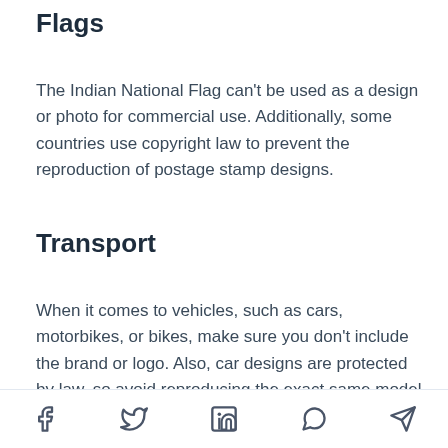Flags
The Indian National Flag can't be used as a design or photo for commercial use. Additionally, some countries use copyright law to prevent the reproduction of postage stamp designs.
Transport
When it comes to vehicles, such as cars, motorbikes, or bikes, make sure you don't include the brand or logo. Also, car designs are protected by law, so avoid reproducing the exact same model in your assets.
We don't accept images of the Volkswagen Buli and
Social share icons: Facebook, Twitter, LinkedIn, WhatsApp, Telegram